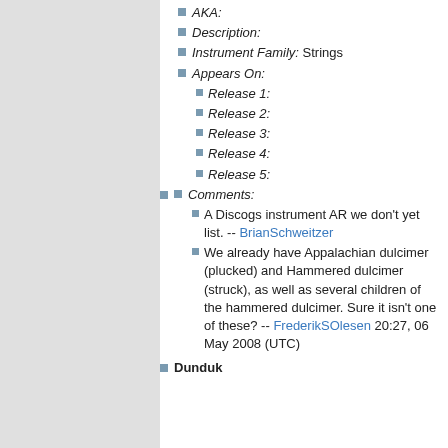AKA:
Description:
Instrument Family: Strings
Appears On:
Release 1:
Release 2:
Release 3:
Release 4:
Release 5:
Comments:
A Discogs instrument AR we don't yet list. -- BrianSchweitzer
We already have Appalachian dulcimer (plucked) and Hammered dulcimer (struck), as well as several children of the hammered dulcimer. Sure it isn't one of these? -- FrederikSOlesen 20:27, 06 May 2008 (UTC)
Dunduk